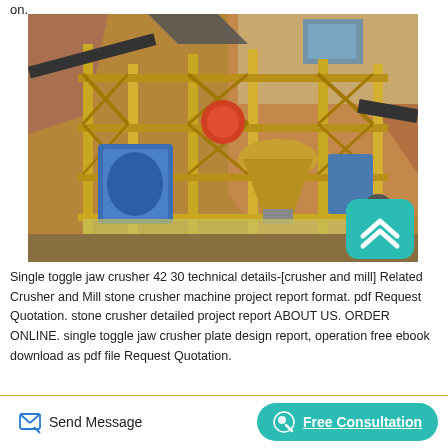on.
[Figure (photo): Industrial stone crusher and mill machinery installation at a quarry site, showing yellow steel framework, conveyor belts, blue crushers, and rocky hillside in the background. A teal rounded-square scroll-to-top button overlays the bottom-right of the image.]
Single toggle jaw crusher 42 30 technical details-[crusher and mill] Related Crusher and Mill stone crusher machine project report format. pdf Request Quotation. stone crusher detailed project report ABOUT US. ORDER ONLINE. single toggle jaw crusher plate design report, operation free ebook download as pdf file Request Quotation.
Send Message   Free Consultation